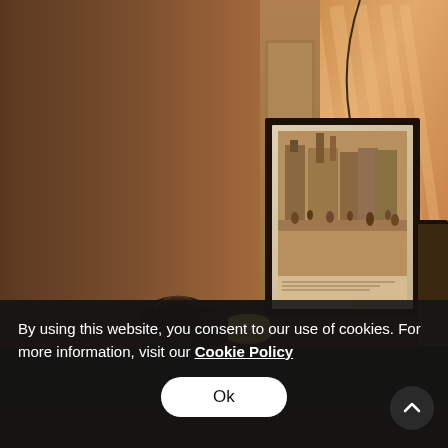[Figure (photo): Warm-toned interior room with a paneled wall bathed in golden sunset light. A framed vintage sepia photograph of a busy street scene hangs on the wall. A dark metal teapot and brass bowl sit on a dark wooden surface in the foreground. A thin curved lamp wire is visible in the upper area. Another framed picture is partially visible at the right edge.]
By using this website, you consent to our use of cookies. For more information, visit our Cookie Policy